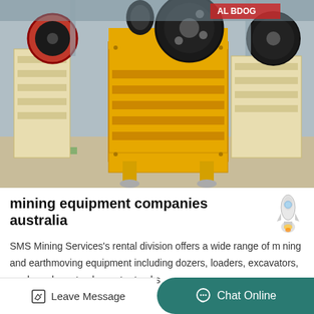[Figure (photo): Industrial jaw crushers in a manufacturing facility — yellow and beige colored heavy mining machinery with large black flywheels, arranged in a row on a concrete floor inside a factory building.]
mining equipment companies australia
SMS Mining Services's rental division offers a wide range of mining and earthmoving equipment including dozers, loaders, excavators, graders, dump trucks, water trucks
Leave Message
Chat Online